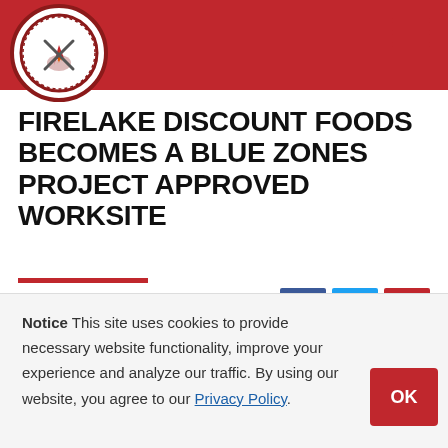Citizen Potawatomi Nation website header with tribal seal logo and hamburger menu
FIRELAKE DISCOUNT FOODS BECOMES A BLUE ZONES PROJECT APPROVED WORKSITE
December 10, 2019
Blue Zones Project in Pottawatomie County celebrated Citizen Potawatomi Nation Firelake Discount Foods' recent...
Notice This site uses cookies to provide necessary website functionality, improve your experience and analyze our traffic. By using our website, you agree to our Privacy Policy.